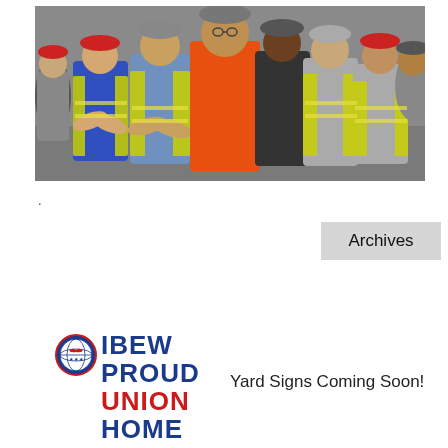[Figure (photo): Group photo of construction workers wearing hard hats and high-visibility yellow safety vests, looking at the camera. The central figure wears an orange shirt. Multiple people visible in a crowded group shot.]
.
Archives
[Figure (logo): IBEW circular logo with globe and eagle emblem, followed by IBEW text and PROUD UNION HOME stacked text in blue and red.]
Yard Signs Coming Soon!